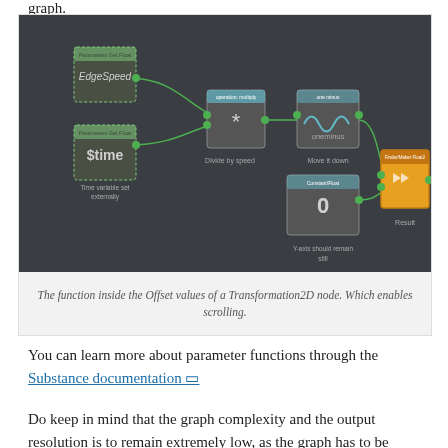graph.
[Figure (screenshot): A node graph showing a function inside Offset values of a Transformation2D node. Nodes include: EdgeSpeed (get float), $time (get float), a multiply node (Divide by speed), a oneminus node (Move it down), a constant node with value 0 (Y-axis should remain still), and a Result node (Finder/Maker Float2). Green curved lines connect the nodes.]
The function inside the Offset values of a Transformation2D node. Which enables scrolling.
You can learn more about parameter functions through the Substance documentation ⧉
Do keep in mind that the graph complexity and the output resolution is to remain extremely low, as the graph has to be